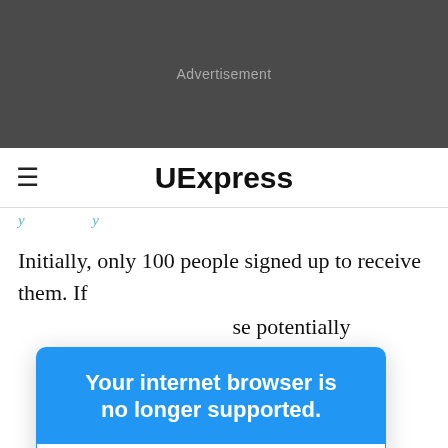[Figure (other): Dark gray advertisement banner with centered 'Advertisement' label in light gray text]
≡  UExpress
Initially, only 100 people signed up to receive them. If
se potentially
te the eight-
Your internet browser is no longer supported.
To get the best experience on our site, we recommend you upgrade to the latest version.
left over after
te in a single
week, my colleagues reported. At an event at a high